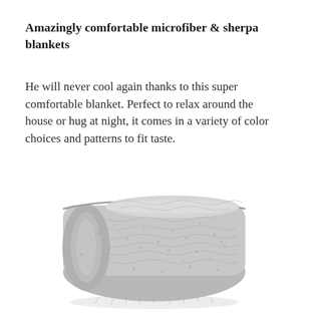Amazingly comfortable microfiber & sherpa blankets
He will never cool again thanks to this super comfortable blanket. Perfect to relax around the house or hug at night, it comes in a variety of color choices and patterns to fit taste.
[Figure (photo): A neatly folded fluffy gray sherpa/microfiber blanket photographed on a white background.]